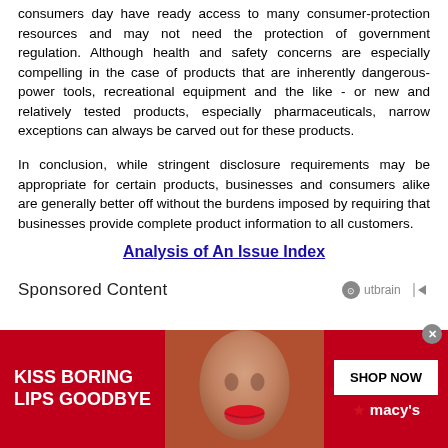consumers day have ready access to many consumer-protection resources and may not need the protection of government regulation. Although health and safety concerns are especially compelling in the case of products that are inherently dangerous-power tools, recreational equipment and the like - or new and relatively tested products, especially pharmaceuticals, narrow exceptions can always be carved out for these products.
In conclusion, while stringent disclosure requirements may be appropriate for certain products, businesses and consumers alike are generally better off without the burdens imposed by requiring that businesses provide complete product information to all customers.
Analysis of An Issue Index
Sponsored Content
[Figure (photo): Macy's advertisement banner with red background showing a model with red lips and text 'KISS BORING LIPS GOODBYE' with a 'SHOP NOW' button and Macy's star logo]